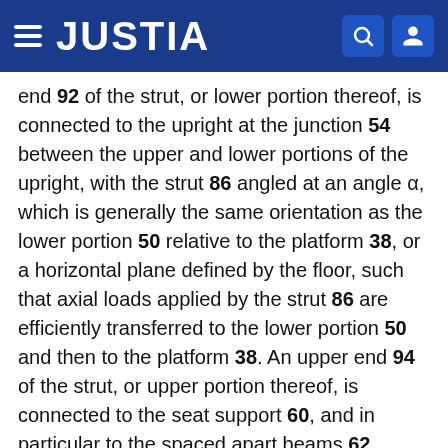JUSTIA
end 92 of the strut, or lower portion thereof, is connected to the upright at the junction 54 between the upper and lower portions of the upright, with the strut 86 angled at an angle α, which is generally the same orientation as the lower portion 50 relative to the platform 38, or a horizontal plane defined by the floor, such that axial loads applied by the strut 86 are efficiently transferred to the lower portion 50 and then to the platform 38. An upper end 94 of the strut, or upper portion thereof, is connected to the seat support 60, and in particular to the spaced apart beams 62 forwardly of the transition region 78. The strut is generally monolithic and extends along a centerline of the body support structure, although it should be understood that is may be configured as two or more laterally spaced struts connected to the beams respectively. The strut 86 spans the distance between